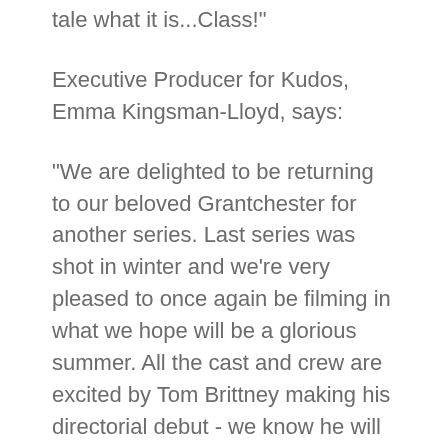tale what it is...Class!"
Executive Producer for Kudos, Emma Kingsman-Lloyd, says:
"We are delighted to be returning to our beloved Grantchester for another series. Last series was shot in winter and we're very pleased to once again be filming in what we hope will be a glorious summer. All the cast and crew are excited by Tom Brittney making his directorial debut - we know he will create a very entertaining episode."
MASTERPIECE Executive Producer-at-Large Rebecca Eaton, added:
"We can't wait to bring MASTERPIECE viewers back to Grantchester for a seventh season. Continuing storylines